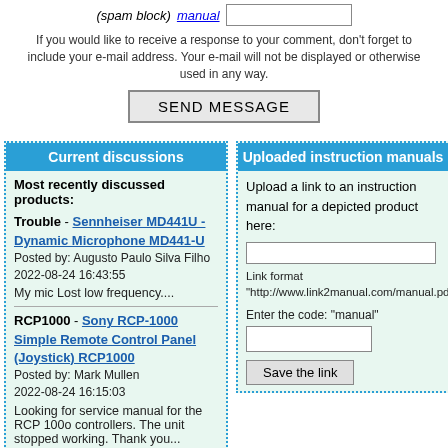(spam block) manual [input] [input]
If you would like to receive a response to your comment, don’t forget to include your e-mail address. Your e-mail will not be displayed or otherwise used in any way.
SEND MESSAGE
Current discussions
Most recently discussed products:
Trouble - Sennheiser MD441U - Dynamic Microphone MD441-U
Posted by: Augusto Paulo Silva Filho
2022-08-24 16:43:55

My mic Lost low frequency....
RCP1000 - Sony RCP-1000 Simple Remote Control Panel (Joystick) RCP1000
Posted by: Mark Mullen
2022-08-24 16:15:03

Looking for service manual for the RCP 100o controllers. The unit stopped working. Thank you...
Settings - CyberPower CP1000AVRLCD Intelligent LCD UPS CP1000AVRLCD
Posted by: Theresa
Uploaded instruction manuals
Upload a link to an instruction manual for a depicted product here:
Link format
"http://www.link2manual.com/manual.pdf"
Enter the code: "manual"
Save the link